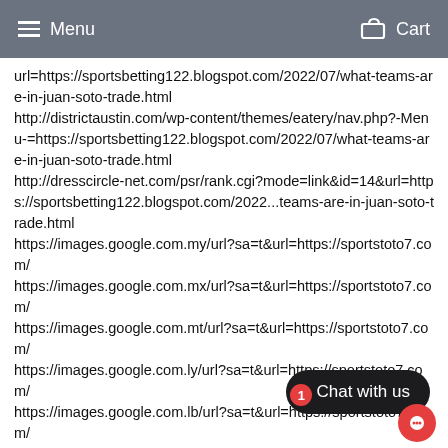Menu   Cart
url=https://sportsbetting122.blogspot.com/2022/07/what-teams-are-in-juan-soto-trade.html http://districtaustin.com/wp-content/themes/eatery/nav.php?-Menu-=https://sportsbetting122.blogspot.com/2022/07/what-teams-are-in-juan-soto-trade.html http://dresscircle-net.com/psr/rank.cgi?mode=link&id=14&url=https://sportsbetting122.blogspot.com/2022/...teams-are-in-juan-soto-trade.html https://images.google.com.my/url?sa=t&url=https://sportstoto7.com/ https://images.google.com.mx/url?sa=t&url=https://sportstoto7.com/ https://images.google.com.mt/url?sa=t&url=https://sportstoto7.com/ https://images.google.com.ly/url?sa=t&url=https://sportstoto7.com/ https://images.google.com.lb/url?sa=t&url=https://sportstoto7.com/ https://images.google.com.kw/url?